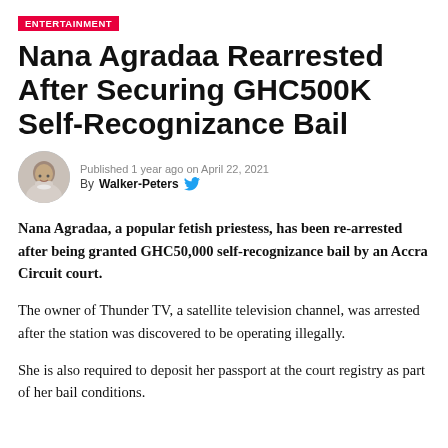ENTERTAINMENT
Nana Agradaa Rearrested After Securing GHC500K Self-Recognizance Bail
Published 1 year ago on April 22, 2021
By Walker-Peters
Nana Agradaa, a popular fetish priestess, has been re-arrested after being granted GHC50,000 self-recognizance bail by an Accra Circuit court.
The owner of Thunder TV, a satellite television channel, was arrested after the station was discovered to be operating illegally.
She is also required to deposit her passport at the court registry as part of her bail conditions.